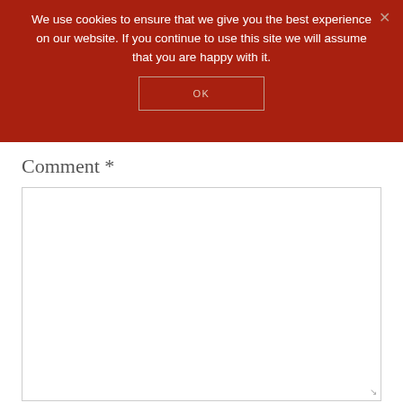We use cookies to ensure that we give you the best experience on our website. If you continue to use this site we will assume that you are happy with it.
OK
Comment *